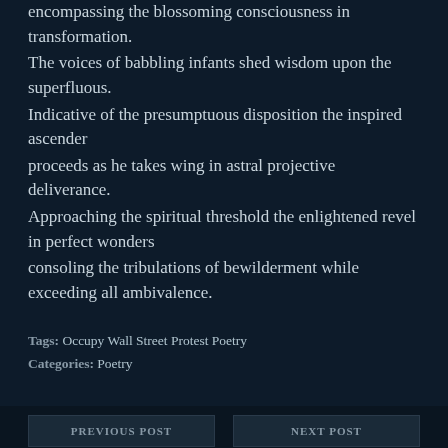encompassing the blossoming consciousness in transformation.
The voices of babbling infants shed wisdom upon the superfluous.
Indicative of the presumptuous disposition the inspired ascender
proceeds as he takes wing in astral projective deliverance.
Approaching the spiritual threshold the enlightened revel in perfect wonders
consoling the tribulations of bewilderment while exceeding all ambivalence.
Tags: Occupy Wall Street Protest Poetry
Categories: Poetry
PREVIOUS POST | NEXT POST